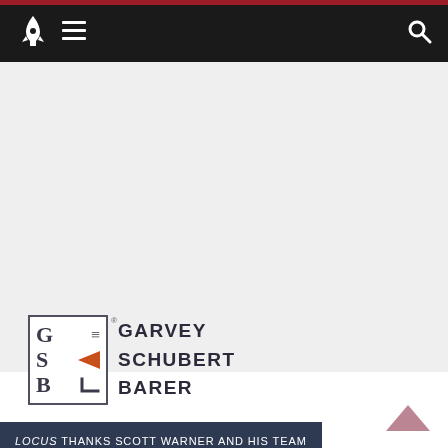[Figure (logo): Navigation bar with rocket logo icon, hamburger menu icon, and search icon on black background]
[Figure (logo): Garvey Schubert Barer law firm logo with GSB monogram box and firm name text]
LOCUS THANKS SCOTT WARNER AND HIS TEAM AT GARVEY SCHUBERT BARER FOR THEIR LEGAL SERVICES AND